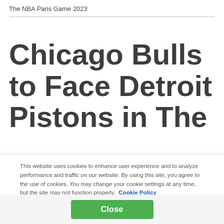The NBA Paris Game 2023
Chicago Bulls to Face Detroit Pistons in The
This website uses cookies to enhance user experience and to analyze performance and traffic on our website. By using this site, you agree to the use of cookies. You may change your cookie settings at any time, but the site may not function properly. Cookie Policy
Close